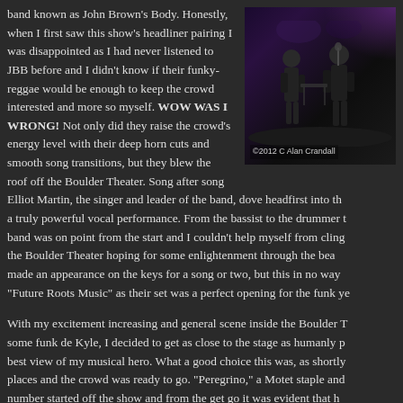band known as John Brown's Body. Honestly, when I first saw this show's headliner pairing I was disappointed as I had never listened to JBB before and I didn't know if their funky-reggae would be enough to keep the crowd interested and more so myself. WOW WAS I WRONG! Not only did they raise the crowd's energy level with their deep horn cuts and smooth song transitions, but they blew the roof off the Boulder Theater. Song after song Elliot Martin, the singer and leader of the band, dove headfirst into th a truly powerful vocal performance. From the bassist to the drummer t band was on point from the start and I couldn't help myself from cling the Boulder Theater hoping for some enlightenment through the bea made an appearance on the keys for a song or two, but this in no way "Future Roots Music" as their set was a perfect opening for the funk ye
[Figure (photo): Concert photo showing musicians on stage with dark background and purple lighting. Credit: ©2012 C Alan Crandall]
With my excitement increasing and general scene inside the Boulder T some funk de Kyle, I decided to get as close to the stage as humanly p best view of my musical hero. What a good choice this was, as shortly places and the crowd was ready to go. "Peregrino," a Motet staple and number started off the show and from the get go it was evident that h to rage. Garrett Sayers, Dave Watts, and Dan Schwindt made up the res Kyle/Motet by perfectly blending in, following "Let's Go Outside"